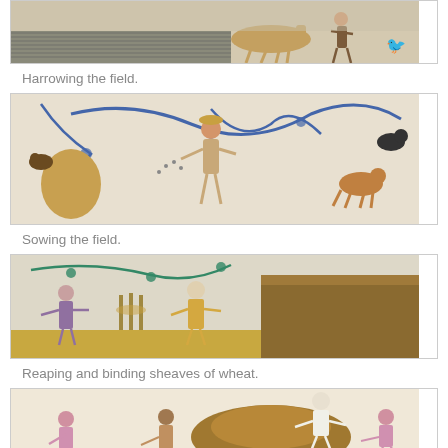[Figure (illustration): Medieval manuscript illustration of harrowing the field, showing a figure with a horse pulling a harrow across a field.]
Harrowing the field.
[Figure (illustration): Medieval manuscript illustration of sowing the field, showing a figure broadcasting seeds from a sack, with decorative blue vine scrollwork and birds.]
Sowing the field.
[Figure (illustration): Medieval manuscript illustration of reaping and binding sheaves of wheat, showing figures harvesting grain and a large haystack, with decorative teal vine scrollwork.]
Reaping and binding sheaves of wheat.
[Figure (illustration): Medieval manuscript illustration showing figures loading or stacking harvested grain/hay into a large pile.]